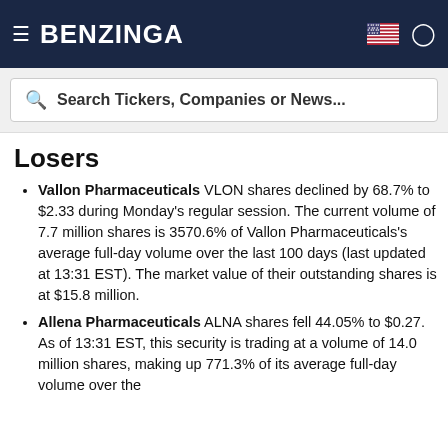BENZINGA
Search Tickers, Companies or News...
Losers
Vallon Pharmaceuticals VLON shares declined by 68.7% to $2.33 during Monday's regular session. The current volume of 7.7 million shares is 3570.6% of Vallon Pharmaceuticals's average full-day volume over the last 100 days (last updated at 13:31 EST). The market value of their outstanding shares is at $15.8 million.
Allena Pharmaceuticals ALNA shares fell 44.05% to $0.27. As of 13:31 EST, this security is trading at a volume of 14.0 million shares, making up 771.3% of its average full-day volume over the